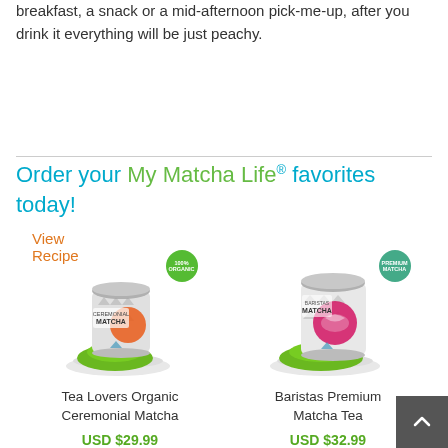breakfast, a snack or a mid-afternoon pick-me-up, after you drink it everything will be just peachy.
View Recipe
Order your My Matcha Life® favorites today!
[Figure (photo): Tea Lovers Organic Ceremonial Matcha tin with green matcha powder on a small dish, with a 100% badge]
Tea Lovers Organic Ceremonial Matcha
USD $29.99
[Figure (photo): Baristas Premium Matcha Tea tin with green matcha powder on a small dish, with a Premium badge]
Baristas Premium Matcha Tea
USD $32.99